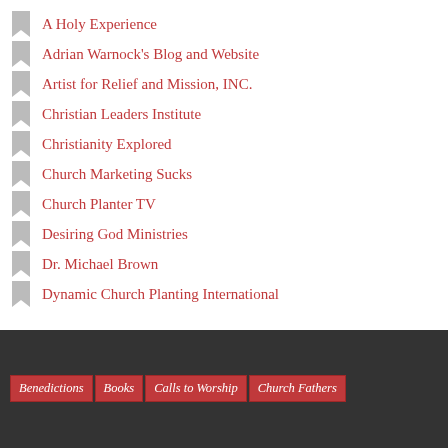A Holy Experience
Adrian Warnock's Blog and Website
Artist for Relief and Mission, INC.
Christian Leaders Institute
Christianity Explored
Church Marketing Sucks
Church Planter TV
Desiring God Ministries
Dr. Michael Brown
Dynamic Church Planting International
Benedictions
Books
Calls to Worship
Church Fathers